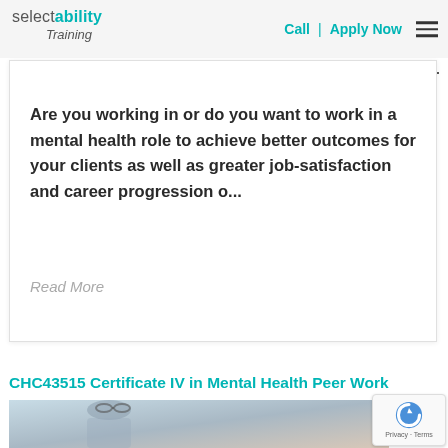selectability Training | Call | Apply Now
Mental Health
Are you working in or do you want to work in a mental health role to achieve better outcomes for your clients as well as greater job-satisfaction and career progression o...
Read More
CHC43515 Certificate IV in Mental Health Peer Work
[Figure (photo): Person with sunglasses on head, partial view, in a learning or office environment]